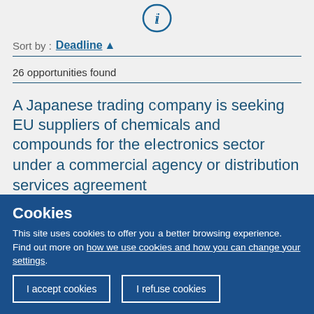[Figure (other): Information icon — circle with italic 'i' in blue outline]
Sort by : Deadline ▲
26 opportunities found
A Japanese trading company is seeking EU suppliers of chemicals and compounds for the electronics sector under a commercial agency or distribution services agreement
Cookies
This site uses cookies to offer you a better browsing experience. Find out more on how we use cookies and how you can change your settings.
I accept cookies
I refuse cookies